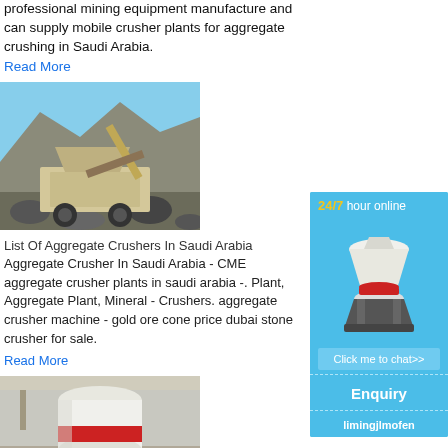professional mining equipment manufacture and can supply mobile crusher plants for aggregate crushing in Saudi Arabia.
Read More
[Figure (photo): Photo of a mobile aggregate crusher machine operating outdoors in a rocky quarry/mine site.]
List Of Aggregate Crushers In Saudi Arabia
Aggregate Crusher In Saudi Arabia - CME aggregate crusher plants in saudi arabia -. Plant, Aggregate Plant, Mineral - Crushers. aggregate crusher machine - gold ore cone price dubai stone crusher for sale.
Read More
[Figure (photo): Photo of a large white industrial cone/ball mill machine in an indoor factory/warehouse setting.]
[Figure (infographic): Right sidebar advertisement: '24/7 hour online' with image of cone crusher machine, 'Click me to chat>>' button, 'Enquiry' section, and 'limingjlmofen' company name on blue background.]